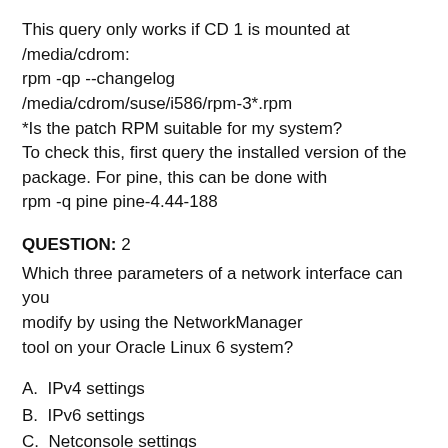This query only works if CD 1 is mounted at /media/cdrom:
rpm -qp --changelog
/media/cdrom/suse/i586/rpm-3*.rpm
*Is the patch RPM suitable for my system?
To check this, first query the installed version of the package. For pine, this can be done with
rpm -q pine pine-4.44-188
QUESTION: 2
Which three parameters of a network interface can you modify by using the NetworkManager tool on your Oracle Linux 6 system?
A.  IPv4 settings
B.  IPv6 settings
C.  Netconsole settings